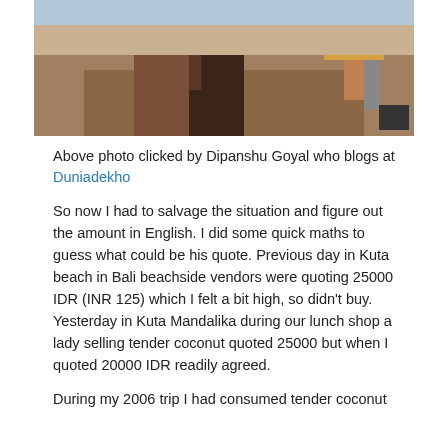[Figure (photo): Outdoor photo showing people standing on a sandy/rocky beach area, partial view showing lower bodies and legs, with a landscape background.]
Above photo clicked by Dipanshu Goyal who blogs at Duniadekho
So now I had to salvage the situation and figure out the amount in English. I did some quick maths to guess what could be his quote. Previous day in Kuta beach in Bali beachside vendors were quoting 25000 IDR (INR 125) which I felt a bit high, so didn't buy. Yesterday in Kuta Mandalika during our lunch shop a lady selling tender coconut quoted 25000 but when I quoted 20000 IDR readily agreed.
During my 2006 trip I had consumed tender coconut for only about IDR 7000 but now when I come to Bali the...